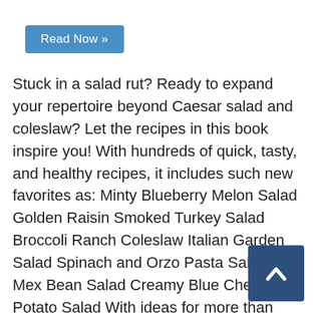Read Now »
Stuck in a salad rut? Ready to expand your repertoire beyond Caesar salad and coleslaw? Let the recipes in this book inspire you! With hundreds of quick, tasty, and healthy recipes, it includes such new favorites as: Minty Blueberry Melon Salad Golden Raisin Smoked Turkey Salad Broccoli Ranch Coleslaw Italian Garden Salad Spinach and Orzo Pasta Salad Tex-Mex Bean Salad Creamy Blue Cheese Potato Salad With ideas for more than 300 delicious and creative salads and dressings, this cookbook is sure to jumpstart your creativity in the kitchen. This book will you and your family eating fresh, healy, satisfying meals, no matter the season!
[Figure (other): Back to top button with upward arrow chevron on dark blue background]